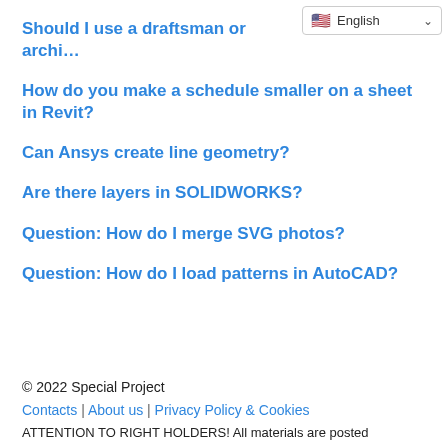Should I use a draftsman or archi…
How do you make a schedule smaller on a sheet in Revit?
Can Ansys create line geometry?
Are there layers in SOLIDWORKS?
Question: How do I merge SVG photos?
Question: How do I load patterns in AutoCAD?
© 2022 Special Project
Contacts | About us | Privacy Policy & Cookies
ATTENTION TO RIGHT HOLDERS! All materials are posted